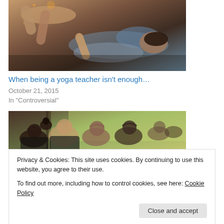[Figure (photo): Yoga class photo showing someone receiving a yoga adjustment while lying on a mat, with a teacher assisting. Warm tones with orange bokeh lights visible.]
When being a yoga teacher isn't enough…
October 21, 2015
In "Controversial"
[Figure (photo): Yoga class photo showing a group of people from behind, practicing yoga in a bright studio or outdoor space.]
Privacy & Cookies: This site uses cookies. By continuing to use this website, you agree to their use.
To find out more, including how to control cookies, see here: Cookie Policy
Close and accept
Don't listen to – anyone…